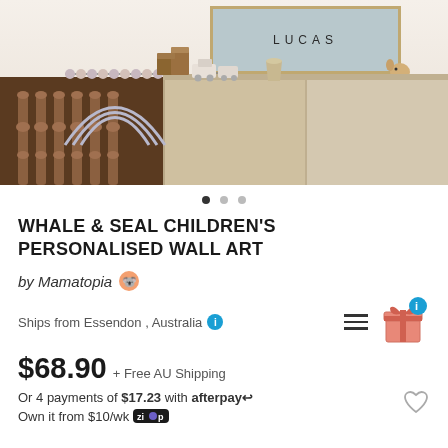[Figure (photo): Children's room shelf with wooden toys, abacus rainbow, toy blocks, small train, wooden giraffe figurine, and car. A framed wall art with text 'LUCAS' hangs on the wall above.]
• • •  (carousel dots)
WHALE & SEAL CHILDREN'S PERSONALISED WALL ART
by Mamatopia 🐨
Ships from Essendon , Australia ℹ
$68.90 + Free AU Shipping
Or 4 payments of $17.23 with afterpay↩
Own it from $10/wk Zip